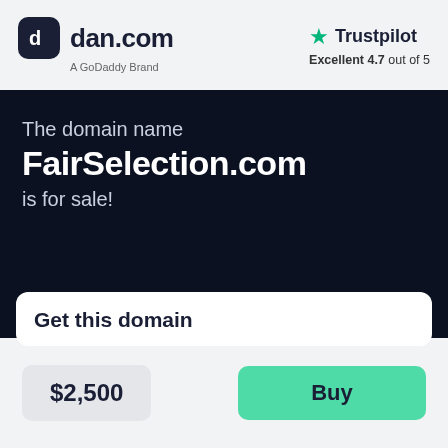[Figure (logo): dan.com logo with dark rounded square icon and text 'dan.com', subtitle 'A GoDaddy Brand']
[Figure (logo): Trustpilot logo with green star, text 'Trustpilot', rating 'Excellent 4.7 out of 5']
The domain name
FairSelection.com
is for sale!
Get this domain
$2,500
Buy